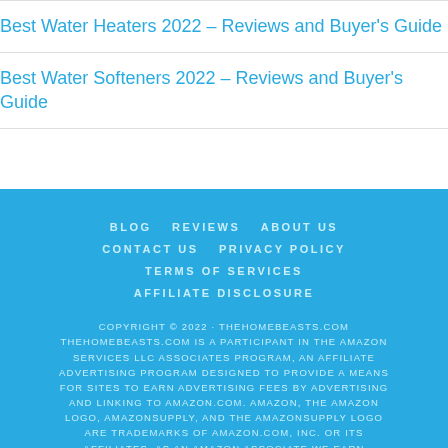Best Water Heaters 2022 – Reviews and Buyer's Guide
Best Water Softeners 2022 – Reviews and Buyer's Guide
BLOG   REVIEWS   ABOUT US   CONTACT US   PRIVACY POLICY   TERMS OF SERVICES   AFFILIATE DISCLOSURE   COPYRIGHT © 2022 · THEHOMEBEASTS.COM   THEHOMEBEASTS.COM IS A PARTICIPANT IN THE AMAZON SERVICES LLC ASSOCIATES PROGRAM, AN AFFILIATE ADVERTISING PROGRAM DESIGNED TO PROVIDE A MEANS FOR SITES TO EARN ADVERTISING FEES BY ADVERTISING AND LINKING TO AMAZON.COM. AMAZON, THE AMAZON LOGO, AMAZONSUPPLY, AND THE AMAZONSUPPLY LOGO ARE TRADEMARKS OF AMAZON.COM, INC. OR ITS AFFILIATES. AS AN AMAZON ASSOCIATE WE EARN